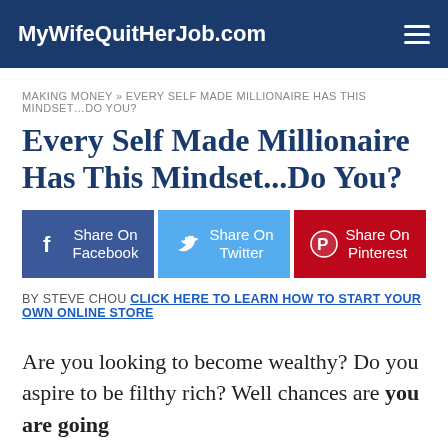MyWifeQuitHerJob.com
MAKING MONEY » EVERY SELF MADE MILLIONAIRE HAS THIS MINDSET…DO YOU?
Every Self Made Millionaire Has This Mindset...Do You?
[Figure (infographic): Three social share buttons: Share On Facebook (dark blue), Share On Twitter (light blue), Share On Pinterest (red)]
BY STEVE CHOU CLICK HERE TO LEARN HOW TO START YOUR OWN ONLINE STORE
Are you looking to become wealthy? Do you aspire to be filthy rich? Well chances are you are going